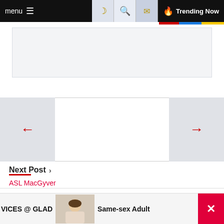menu  🌙 🔍 ✉ 🔥 Trending Now
[Figure (screenshot): Advertisement placeholder area, light gray rectangle]
[Figure (screenshot): Navigation arrows: red left arrow on gray background on left, white center panel, red right arrow on gray background on right]
Next Post >
ASL MacGyver
The Dracula's Ring
[Figure (infographic): Circular progress indicator showing 67%]
VICES @ GLAD
Same-sex Adult
[Figure (photo): Small thumbnail photo of a woman]